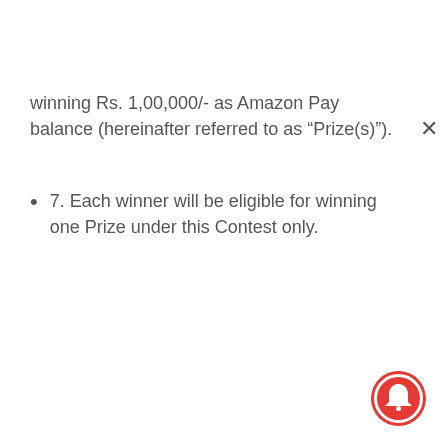winning Rs. 1,00,000/- as Amazon Pay balance (hereinafter referred to as “Prize(s)”).
7. Each winner will be eligible for winning one Prize under this Contest only.